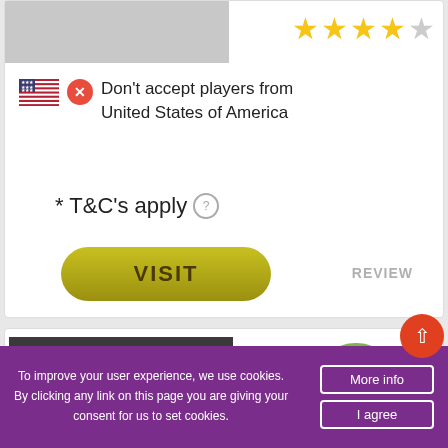[Figure (screenshot): Casino listing card with gray logo placeholder, 4 out of 5 gold stars rating]
Don't accept players from United States of America
* T&C's apply ?
VISIT
REVIEW
[Figure (logo): Maria Casino logo on dark background with score 7.9 in green circle]
To improve your user experience, we use cookies. By clicking any link on this page you are giving your consent for us to set cookies.
More info
I agree